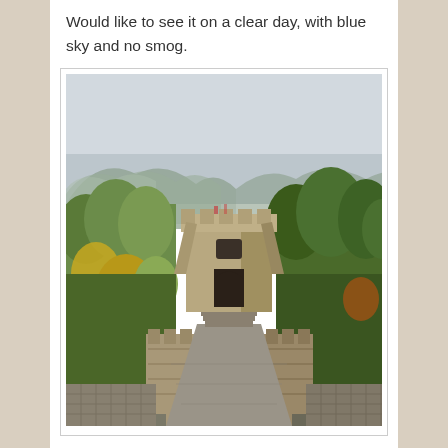Would like to see it on a clear day, with blue sky and no smog.
[Figure (photo): Photo of the Great Wall of China on a hazy day, showing the stone walkway leading up to a watchtower in the center, with green and yellow trees on both sides, misty mountains in the background, and an overcast sky.]